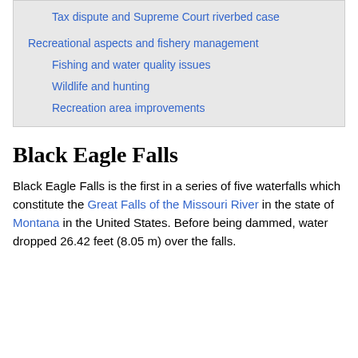Tax dispute and Supreme Court riverbed case
Recreational aspects and fishery management
Fishing and water quality issues
Wildlife and hunting
Recreation area improvements
Black Eagle Falls
Black Eagle Falls is the first in a series of five waterfalls which constitute the Great Falls of the Missouri River in the state of Montana in the United States. Before being dammed, water dropped 26.42 feet (8.05 m) over the falls.